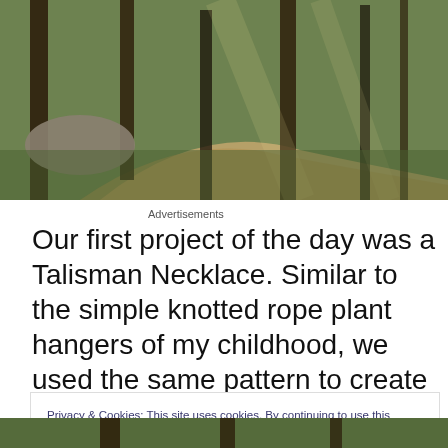[Figure (photo): Forest path with sunlight filtering through tall trees and bamboo, green moss on ground, dirt trail visible]
Advertisements
Our first project of the day was a Talisman Necklace. Similar to the simple knotted rope plant hangers of my childhood, we used the same pattern to create our
Privacy & Cookies: This site uses cookies. By continuing to use this website, you agree to their use.
To find out more, including how to control cookies, see here: Cookie Policy
Close and accept
[Figure (photo): Partial photo at bottom of page showing outdoor/forest scene]